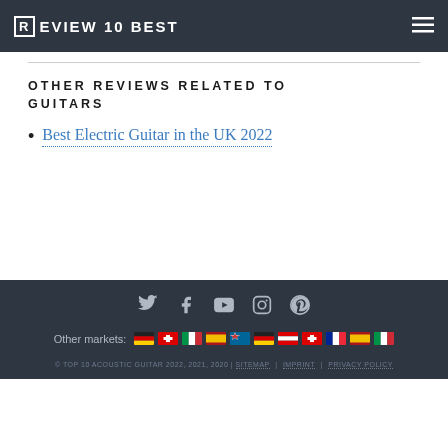REVIEW10BEST
OTHER REVIEWS RELATED TO GUITARS
Best Electric Guitar in the UK 2022
© TOP 10 ACOUSTIC GUITAR 2022, 2021, 2020 | SITEMAP | IMPRINT | PRIVACY POLICY